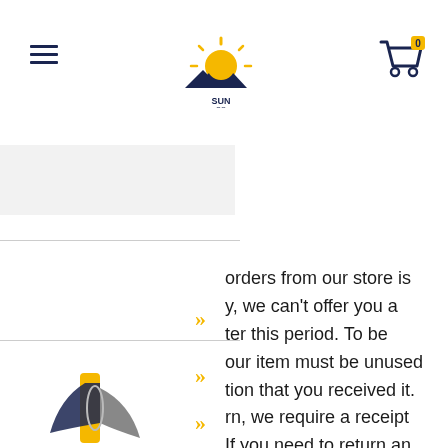Sun Company store header with hamburger menu, logo, and cart icon
[Figure (logo): Sun Company logo with sun rising over mountains, navy and yellow colors]
[Figure (illustration): Shopping cart icon with badge showing 0 items]
orders from our store is y, we can't offer you a ter this period. To be our item must be unused tion that you received it. rn, we require a receipt If you need to return an pport@suncompany.com.